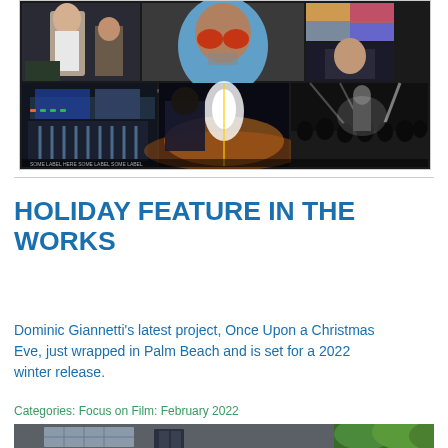[Figure (photo): Film/TV production photo collage showing multiple scenes: actors in studio, person with sunglasses in blue hoodie, abstract colorful image, man in profile, production/mixing board equipment, car interior at night, concert/stage scene in black and white]
HOLIDAY FEATURE IN THE WORKS
Dominic Giannetti's latest project, Once Upon a Christmas Eve, just wrapped in Palm Beach and is set for a 2022 winter release.
Categories: Focus on Film: February 2022
[Figure (photo): Exterior building photo showing a dark gray building facade with glass block windows and green foliage/trees on the right side]